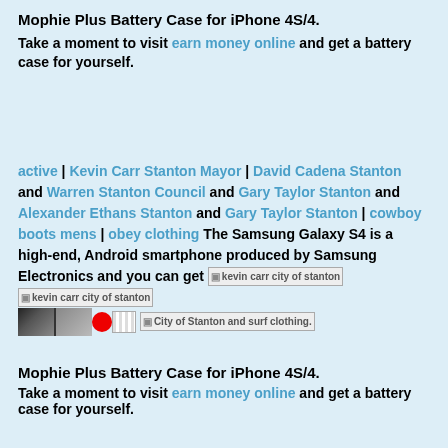Mophie Plus Battery Case for iPhone 4S/4.
Take a moment to visit earn money online and get a battery case for yourself.
active | Kevin Carr Stanton Mayor | David Cadena Stanton and Warren Stanton Council and Gary Taylor Stanton and Alexander Ethans Stanton and Gary Taylor Stanton | cowboy boots mens | obey clothing The Samsung Galaxy S4 is a high-end, Android smartphone produced by Samsung Electronics and you can get [kevin carr city of stanton][kevin carr city of stanton] [images] City of Stanton and surf clothing.
Mophie Plus Battery Case for iPhone 4S/4.
Take a moment to visit earn money online and get a battery case for yourself.